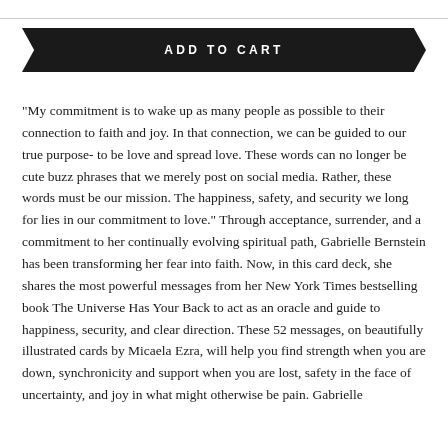ADD TO CART
"My commitment is to wake up as many people as possible to their connection to faith and joy. In that connection, we can be guided to our true purpose- to be love and spread love. These words can no longer be cute buzz phrases that we merely post on social media. Rather, these words must be our mission. The happiness, safety, and security we long for lies in our commitment to love." Through acceptance, surrender, and a commitment to her continually evolving spiritual path, Gabrielle Bernstein has been transforming her fear into faith. Now, in this card deck, she shares the most powerful messages from her New York Times bestselling book The Universe Has Your Back to act as an oracle and guide to happiness, security, and clear direction. These 52 messages, on beautifully illustrated cards by Micaela Ezra, will help you find strength when you are down, synchronicity and support when you are lost, safety in the face of uncertainty, and joy in what might otherwise be pain. Gabrielle